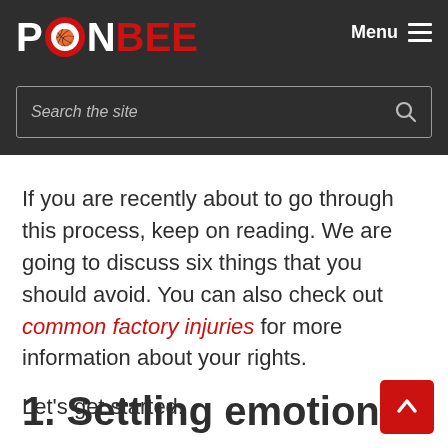PONBEE — Menu
Search the site
If you are recently about to go through this process, keep on reading. We are going to discuss six things that you should avoid. You can also check out common factory injuries for more information about your rights.
Let's get started.
1. Settling emotional...